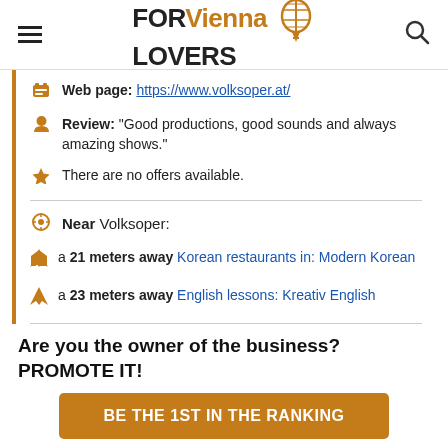FOR Vienna LOVERS
Web page: https://www.volksoper.at/
Review: "Good productions, good sounds and always amazing shows."
There are no offers available.
Near Volksoper:
a 21 meters away Korean restaurants in: Modern Korean
a 23 meters away English lessons: Kreativ English
Are you the owner of the business? PROMOTE IT!
BE THE 1ST IN THE RANKING